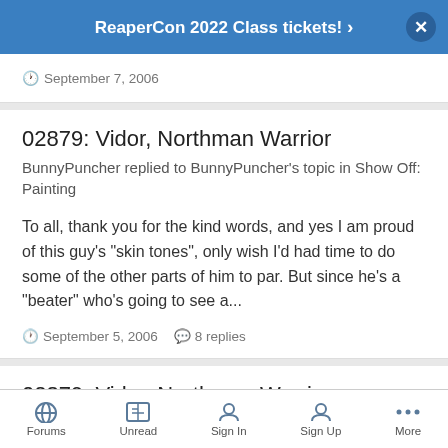ReaperCon 2022 Class tickets! ›
September 7, 2006
02879: Vidor, Northman Warrior
BunnyPuncher replied to BunnyPuncher's topic in Show Off: Painting
To all, thank you for the kind words, and yes I am proud of this guy's "skin tones", only wish I'd had time to do some of the other parts of him to par. But since he's a "beater" who's going to see a...
September 5, 2006  •  8 replies
02879: Vidor, Northman Warrior
BunnyPuncher replied to BunnyPuncher's topic in Show Off:
Forums  Unread  Sign In  Sign Up  More